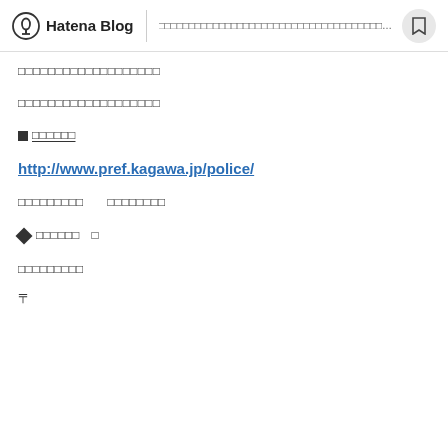Hatena Blog | □□□□□□□□□□□□□□□□□□□□□□□□□□□□□□□□□□□□
□□□□□□□□□□□□□□□□□□□
□□□□□□□□□□□□□□□□□□□
■□□□□□□
http://www.pref.kagawa.jp/police/
□□□□□□□□□　□□□□□□□□
◆□□□□□□　□
□□□□□□□□□
〒 xxxxxxxxx